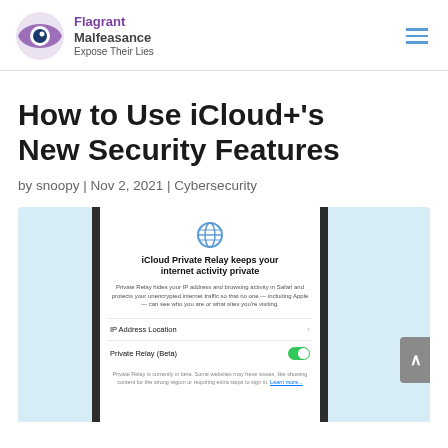[Figure (logo): Flagrant Malfeasance logo with eye icon and tagline 'Expose Their Lies']
How to Use iCloud+'s New Security Features
by snoopy | Nov 2, 2021 | Cybersecurity
[Figure (screenshot): iPhone screenshot showing iCloud Private Relay settings screen with toggle enabled]